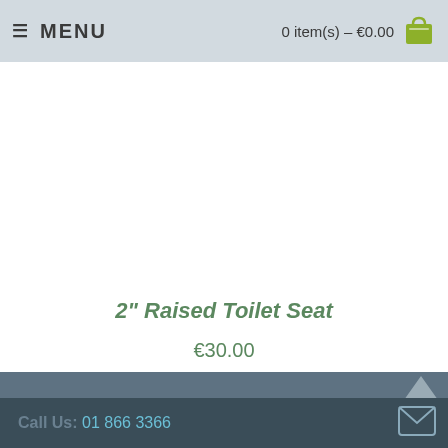MENU | 0 item(s) – €0.00
[Figure (screenshot): Cookie consent overlay on e-commerce website showing navigation header, product page behind, cookie notice panel with Don't Accept link, privacy policy link, Preferences and Accept buttons, and footer with phone number]
Don't Accept
Our website uses cookies and to provide the best experience we recommend you accept these. Otherwise you can switch them off or update your preferences on this notice.
Privacy Policy
Preferences
Accept
Call Us: 01 866 3366